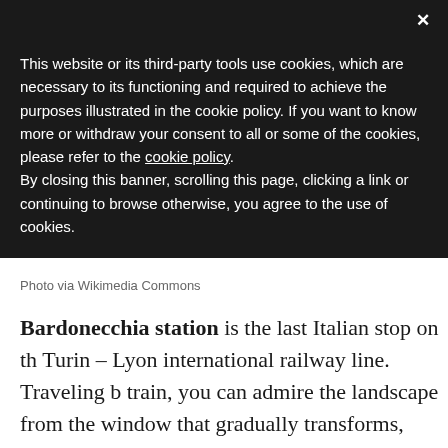Notice
This website or its third-party tools use cookies, which are necessary to its functioning and required to achieve the purposes illustrated in the cookie policy. If you want to know more or withdraw your consent to all or some of the cookies, please refer to the cookie policy.
By closing this banner, scrolling this page, clicking a link or continuing to browse otherwise, you agree to the use of cookies.
Photo via Wikimedia Commons
Bardonecchia station is the last Italian stop on the Turin – Lyon international railway line. Traveling by train, you can admire the landscape from the window that gradually transforms, leaving space f...